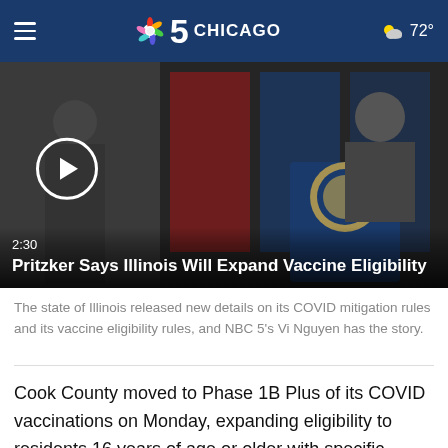NBC 5 Chicago  72°
[Figure (screenshot): Video thumbnail showing a press conference with Illinois flags in the background. A play button circle is visible. Duration shows 2:30. Title: Pritzker Says Illinois Will Expand Vaccine Eligibility]
2:30
Pritzker Says Illinois Will Expand Vaccine Eligibility
The state of Illinois released new details on its COVID mitigation rules and its vaccine eligibility rules, and NBC 5's Vi Nguyen has the story.
Cook County moved to Phase 1B Plus of its COVID vaccinations on Monday, expanding eligibility to residents 16 years of age or older with specific health conditions.